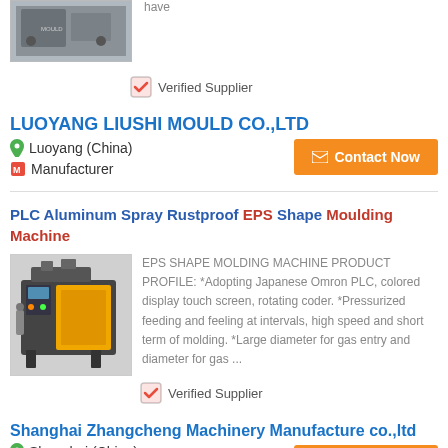have
✔ Verified Supplier
LUOYANG LIUSHI MOULD CO.,LTD
Luoyang (China)
Manufacturer
PLC Aluminum Spray Rustproof EPS Shape Moulding Machine
[Figure (photo): Yellow and black industrial EPS shape moulding machine]
EPS SHAPE MOLDING MACHINE PRODUCT PROFILE: *Adopting Japanese Omron PLC, colored display touch screen, rotating coder. *Pressurized feeding and feeling at intervals, high speed and short term of molding. *Large diameter for gas entry and diameter for gas ...
✔ Verified Supplier
Shanghai Zhangcheng Machinery Manufacture co.,ltd
Shanghai (China)
Manufacturer